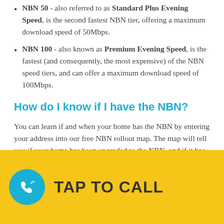NBN 50 - also referred to as Standard Plus Evening Speed, is the second fastest NBN tier, offering a maximum download speed of 50Mbps.
NBN 100 - also known as Premium Evening Speed, is the fastest (and consequently, the most expensive) of the NBN speed tiers, and can offer a maximum download speed of 100Mbps.
How do I know if I have the NBN?
You can learn if and when your home has the NBN by entering your address into our free NBN rollout map. The map will tell you if your home has been upgraded to the NBN, and if it has not, the map will tell you when you can expect your NBN upgrade. It will also tell you what kind of NBN connection type has been allocated to your area. Be sure to enter your full address,
[Figure (infographic): Yellow TAP TO CALL banner with teal phone icon circle button]